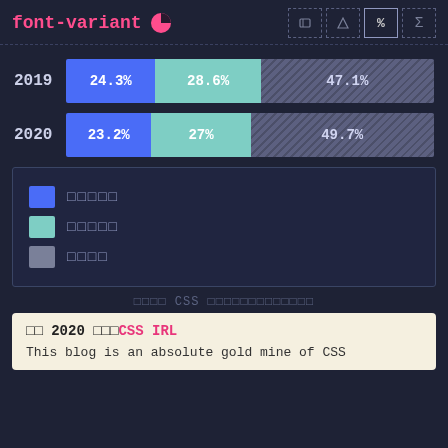font-variant
[Figure (stacked-bar-chart): font-variant usage]
Legend: blue squares, teal squares, grey squares
CSS survey results
2020 CSS IRL
This blog is an absolute gold mine of CSS